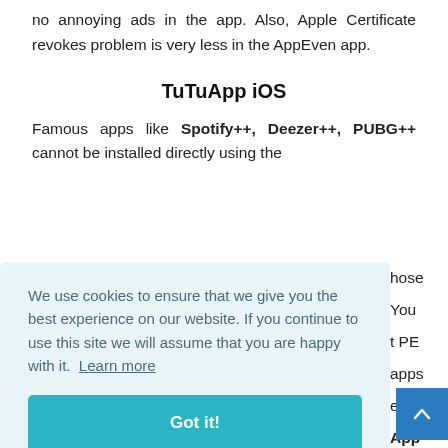no annoying ads in the app. Also, Apple Certificate revokes problem is very less in the AppEven app.
TuTuApp iOS
Famous apps like Spotify++, Deezer++, PUBG++ cannot be installed directly using the official app store. But you can install those apps using the TuTuApp. You don't need to jailbreak or install PE certificate to install third-party apps using TuTuApp. Here we are providing the link to download the TuTuApp in fewer steps. You can download all the paid and free apps using the TuTuApp in one touch. All the apps are
We use cookies to ensure that we give you the best experience on our website. If you continue to use this site we will assume that you are happy with it. Learn more
Got it!
using the TuTuApp in one touch. All the apps are